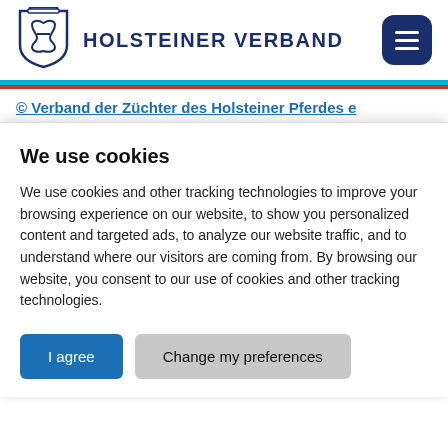[Figure (logo): Holsteiner Verband shield logo with stylized H shape inside]
HOLSTEINER VERBAND
© Verband der Züchter des Holsteiner Pferdes e
We use cookies
We use cookies and other tracking technologies to improve your browsing experience on our website, to show you personalized content and targeted ads, to analyze our website traffic, and to understand where our visitors are coming from. By browsing our website, you consent to our use of cookies and other tracking technologies.
I agree | Change my preferences